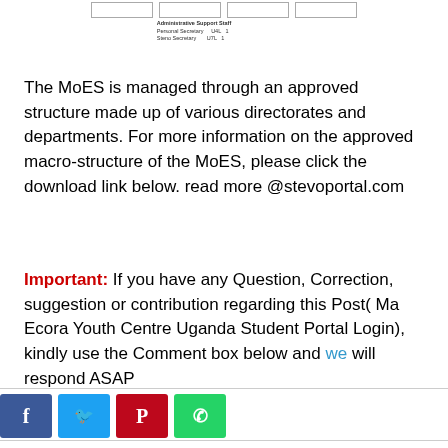[Figure (organizational-chart): Partial organizational chart showing boxes for administrative positions and text listing Administrative Support Staff: Personal Secretary U4L 1, Steno Secretary U7L 1]
The MoES is managed through an approved structure made up of various directorates and departments. For more information on the approved macro-structure of the MoES, please click the download link below. read more @stevoportal.com
Important: If you have any Question, Correction, suggestion or contribution regarding this Post( Ma Ecora Youth Centre Uganda Student Portal Login), kindly use the Comment box below and we will respond ASAP
[Figure (infographic): Social media share buttons: Facebook (blue), Twitter (light blue), Pinterest (red), WhatsApp (green)]